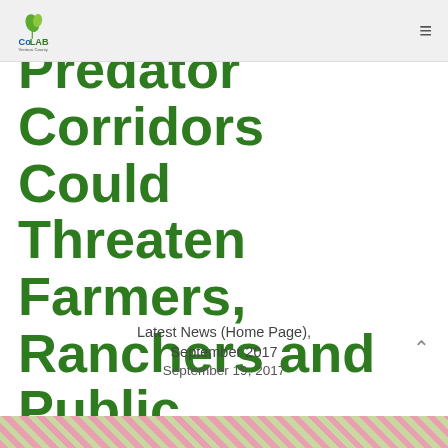CoLAB Ventura County
Predator Corridors Could Threaten Farmers, Ranchers and Public
Latest News (Home Page), September 2017
September 19, 2017
[Figure (photo): Decorative striped image strip at the bottom of the page]